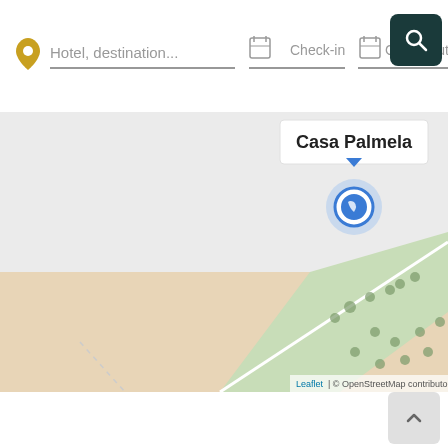[Figure (screenshot): Hotel booking search bar UI with fields: Hotel destination..., Check-in, Check-out, and a search button (magnifier icon on dark teal background)]
[Figure (map): OpenStreetMap view showing location marker for 'Casa Palmela' with a blue circular map pin, map shows sandy/beige terrain and a green diagonal strip, with Leaflet attribution at bottom right]
[Figure (screenshot): Scroll-to-top button (chevron up arrow) in bottom right corner on light gray background]